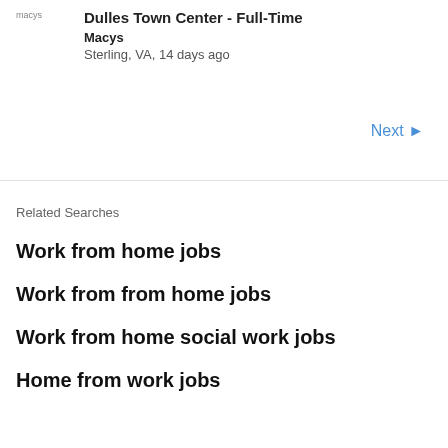Dulles Town Center - Full-Time
Macys
Sterling, VA, 14 days ago
Next ▶
Related Searches
Work from home jobs
Work from from home jobs
Work from home social work jobs
Home from work jobs